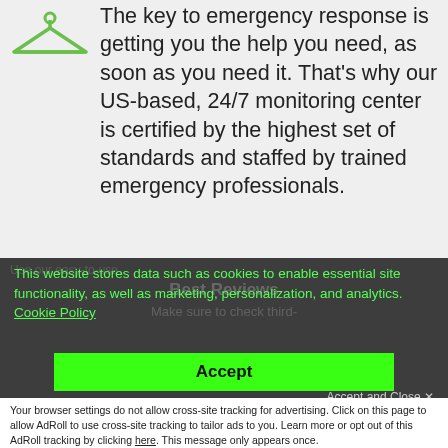[Figure (illustration): Green icon of a person/clothing item (hanger-like shape)]
The key to emergency response is getting you the help you need, as soon as you need it. That's why our US-based, 24/7 monitoring center is certified by the highest set of standards and staffed by trained emergency professionals.
This website stores data such as cookies to enable essential site functionality, as well as marketing, personalization, and analytics. Cookie Policy
Best Reviews
Make sure to check third-
Accept
Accept and Close ✕
Deny
Your browser settings do not allow cross-site tracking for advertising. Click on this page to allow AdRoll to use cross-site tracking to tailor ads to you. Learn more or opt out of this AdRoll tracking by clicking here. This message only appears once.